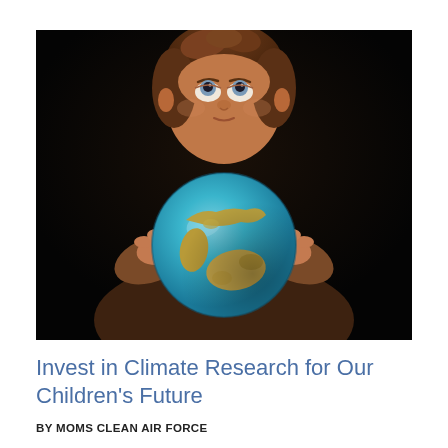[Figure (photo): A young child with brown wavy hair and wide blue-grey eyes looks upward while holding a globe (Earth) with both hands against a dark black background. The globe shows teal ocean and golden-green landmasses.]
Invest in Climate Research for Our Children's Future
BY MOMS CLEAN AIR FORCE